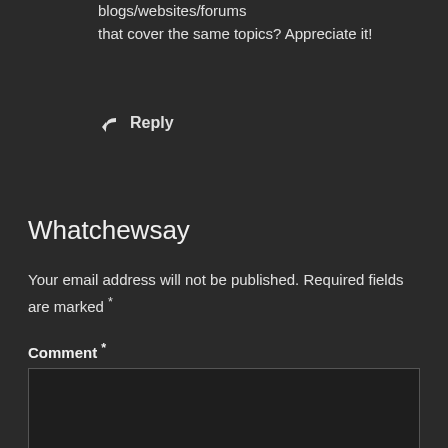blogs/websites/forums that cover the same topics? Appreciate it!
↩ Reply
Whatchewsay
Your email address will not be published. Required fields are marked *
Comment *